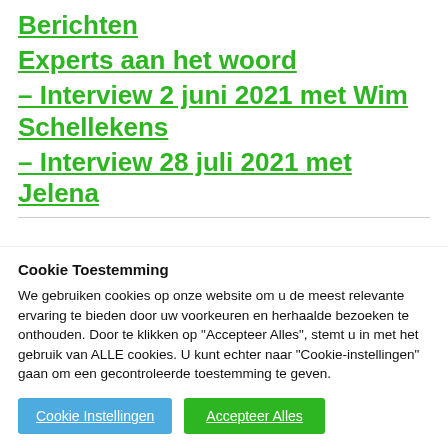Berichten
Experts aan het woord
– Interview 2 juni 2021 met Wim Schellekens
– Interview 28 juli 2021 met Jelena
Cookie Toestemming
We gebruiken cookies op onze website om u de meest relevante ervaring te bieden door uw voorkeuren en herhaalde bezoeken te onthouden. Door te klikken op "Accepteer Alles", stemt u in met het gebruik van ALLE cookies. U kunt echter naar "Cookie-instellingen" gaan om een gecontroleerde toestemming te geven.
Cookie Instellingen
Accepteer Alles